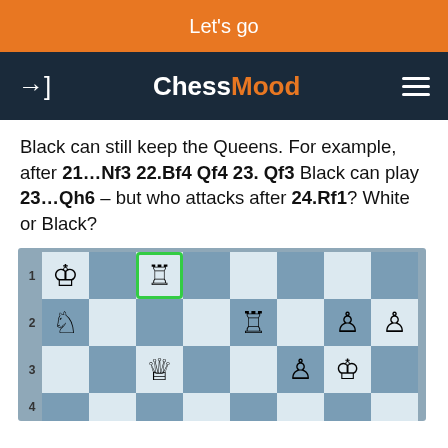Let's go
ChessMood
Black can still keep the Queens. For example, after 21…Nf3 22.Bf4 Qf4 23. Qf3 Black can play 23…Qh6 – but who attacks after 24.Rf1? White or Black?
[Figure (other): Chess board diagram showing a position. Row 1: White King on a1, White Rook on c1 (highlighted with green border, arrow pointing right along rank 1), Row 2: White Knight on a2, White Rook on e2, White pawns on g2 and h2, Row 3: White Queen on c3, White pawn on f3, White King on g3, Row 4: empty rank shown partially.]